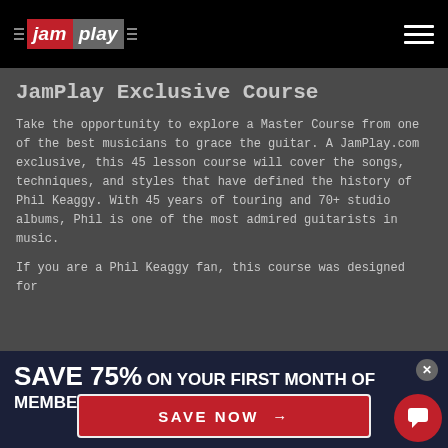JamPlay logo navigation bar
JamPlay Exclusive Course
Take the opportunity to explore a Master Course from one of the best musicians to grace the guitar. A JamPlay.com exclusive, this 45 lesson course will cover the songs, techniques, and styles that have defined the history of Phil Keaggy. With 45 years of touring and 70+ studio albums, Phil is one of the most admired guitarists in music.
If you are a Phil Keaggy fan, this course was designed for
SAVE 75% ON YOUR FIRST MONTH OF MEMBERSHIP!
SAVE NOW →